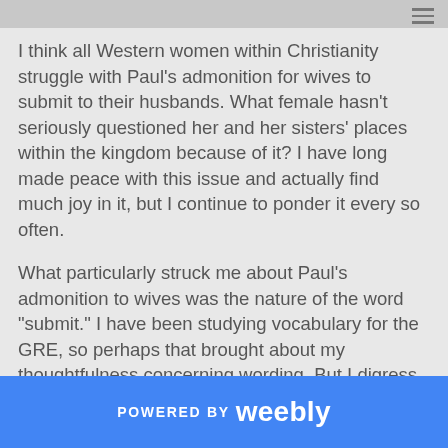I think all Western women within Christianity struggle with Paul's admonition for wives to submit to their husbands. What female hasn't seriously questioned her and her sisters' places within the kingdom because of it? I have long made peace with this issue and actually find much joy in it, but I continue to ponder it every so often.
What particularly struck me about Paul's admonition to wives was the nature of the word "submit." I have been studying vocabulary for the GRE, so perhaps that brought about my thoughtfulness concerning wording. But I digress. "To submit" is not a passive verb, but rather a verb of willful choice and action. The women Paul speaks to are the perpetrators of the command, not the recipients of its action.
POWERED BY weebly